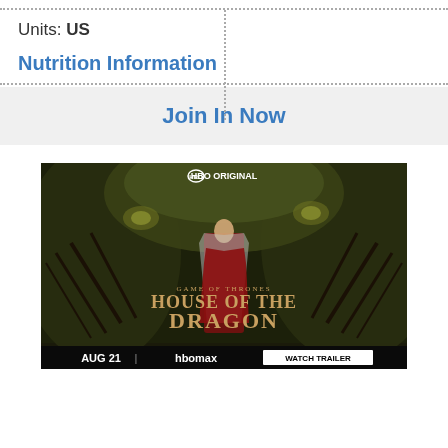Units: US
Nutrition Information
Join In Now
[Figure (photo): HBO Original advertisement for Game of Thrones: House of the Dragon. Shows a woman in red dress standing before a large dragon. Text reads: GAME OF THRONES HOUSE OF THE DRAGON, AUG 21 | HBO max | WATCH TRAILER]